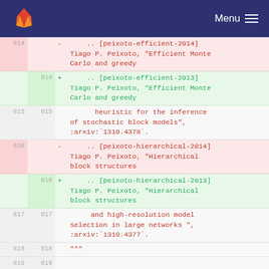GitLab — Menu
| old | new | diff |
| --- | --- | --- |
| 814 |  | - .. [peixoto-efficient-2014] Tiago P. Peixoto, "Efficient Monte Carlo and greedy |
|  | 814 | + .. [peixoto-efficient-2013] Tiago P. Peixoto, "Efficient Monte Carlo and greedy |
| 815 | 815 |        heuristic for the inference of stochastic block models", :arxiv:`1310.4378`. |
| 816 |  | - .. [peixoto-hierarchical-2014] Tiago P. Peixoto, "Hierarchical block structures |
|  | 816 | + .. [peixoto-hierarchical-2013] Tiago P. Peixoto, "Hierarchical block structures |
| 817 | 817 |        and high-resolution model selection in large networks ", :arxiv:`1310.4377`. |
| 818 | 818 |    """ |
| 819 | 819 |  |